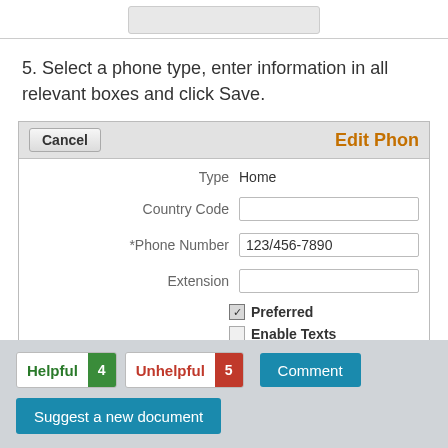[Figure (screenshot): Top partial screenshot showing a gray rounded rectangle form element at the top of the page]
5. Select a phone type, enter information in all relevant boxes and click Save.
[Figure (screenshot): Screenshot of an Edit Phone form with Cancel button and orange Edit Phon heading, fields for Type (Home), Country Code, Phone Number (123/456-7890), Extension, Preferred checkbox (checked), and Enable Texts checkbox (unchecked)]
[Figure (screenshot): Footer bar with Helpful (4) and Unhelpful (5) feedback buttons, Comment button, and Suggest a new document button]